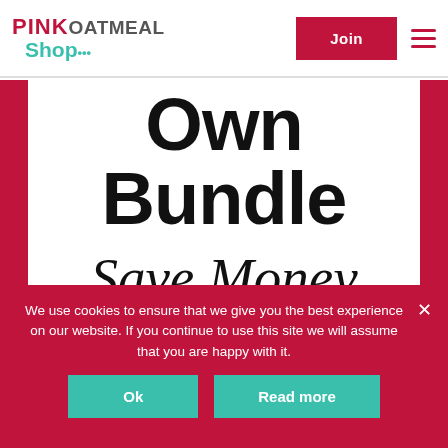[Figure (logo): Pink Oatmeal Shop logo in top left header]
Join
[Figure (illustration): White banner on crimson background showing large bold text 'Own Bundle' and italic 'Save Money']
We use cookies to ensure that we give you the best experience on our website. If you continue to use this site we will assume that you are happy with it.
Ok
Read more